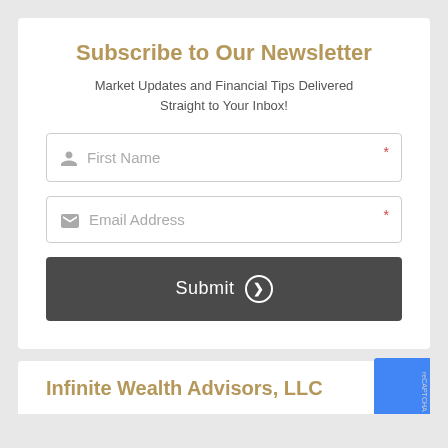Subscribe to Our Newsletter
Market Updates and Financial Tips Delivered Straight to Your Inbox!
First Name
Email Address
Submit
Infinite Wealth Advisors, LLC